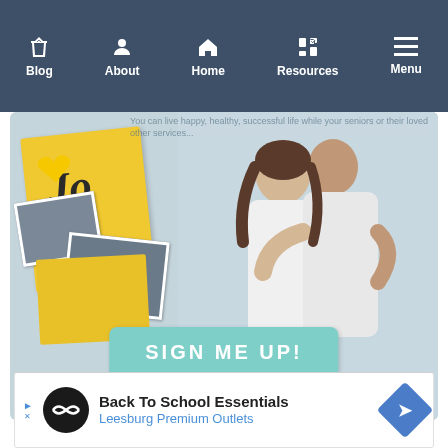Blog | About | Home | Resources | Menu
[Figure (photo): Website screenshot showing a navigation bar with Blog, About, Home, Resources, Menu items in dark blue, and a hero image area with a collage of yellow journal cards and photos on the left, two people hugging on the right, and a teal 'SIGN ME UP!' button overlay.]
[Figure (photo): Advertisement banner: Back To School Essentials - Leesburg Premium Outlets, with a black circular logo on left and blue diamond arrow icon on right.]